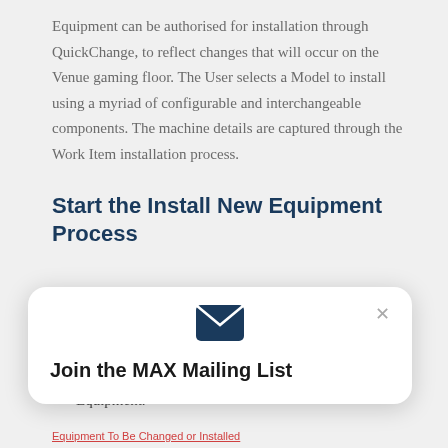Equipment can be authorised for installation through QuickChange, to reflect changes that will occur on the Venue gaming floor. The User selects a Model to install using a myriad of configurable and interchangeable components. The machine details are captured through the Work Item installation process.
Start the Install New Equipment Process
Navigate to the "Equipment to be Changed or Installed" section in the Quickchange application.
Select the "Install New Equipment" button from the Equipment.
[Figure (other): Popup dialog with envelope/mail icon, close (×) button, and text 'Join the MAX Mailing List']
Equipment To Be Changed or Installed